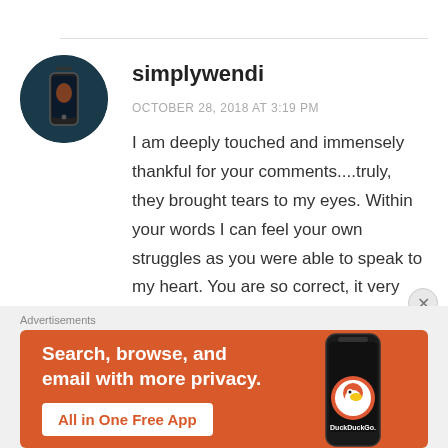[Figure (photo): Circular avatar photo of user simplywendi showing a dark teal background with a person holding a phone]
simplywendi
OCTOBER 28, 2018 AT 3:19 PM
I am deeply touched and immensely thankful for your comments....truly, they brought tears to my eyes. Within your words I can feel your own struggles as you were able to speak to my heart. You are so correct, it very hard not to get bitter and
Advertisements
[Figure (screenshot): DuckDuckGo advertisement banner on orange/red background. Text reads: Search, browse, and email with more privacy. All in One Free App. Shows a smartphone with DuckDuckGo logo.]